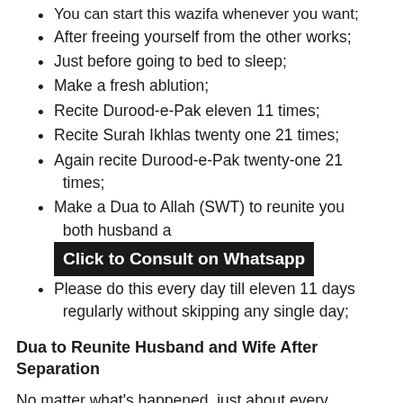You can start this wazifa whenever you want;
After freeing yourself from the other works;
Just before going to bed to sleep;
Make a fresh ablution;
Recite Durood-e-Pak eleven 11 times;
Recite Surah Ikhlas twenty one 21 times;
Again recite Durood-e-Pak twenty-one 21 times;
Make a Dua to Allah (SWT) to reunite you both husband and [Click to Consult on Whatsapp]
Please do this every day till eleven 11 days regularly without skipping any single day;
Dua to Reunite Husband and Wife After Separation
No matter what's happened, just about every problem in a relationship can be fixed by this Dua to Reunite Husband and Wife After Separation.